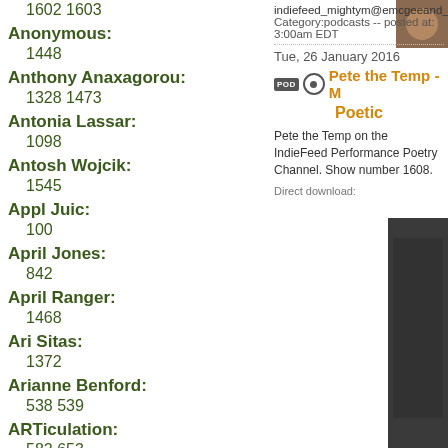1602 1603
Anonymous:
1448
Anthony Anaxagorou:
1328 1473
Antonia Lassar:
1098
Antosh Wojcik:
1545
Appl Juic:
100
April Jones:
842
April Ranger:
1468
Ari Sitas:
1372
Arianne Benford:
538 539
ARTiculation:
582 653
Aryan Kaganof:
818
Ashley Platz:
1137
Athens Boys Choir:
1195 1279
Ayinde Russell:
1022
indiefeed_mightym@emcgeeand_beforeweleave.
Category:podcasts -- posted at: 3:00am EDT
Tue, 26 January 2016
Pete the Temp - M... Poetic
Pete the Temp on the IndieFeed Performance Poetry Channel. Show number 1608.
Direct download: